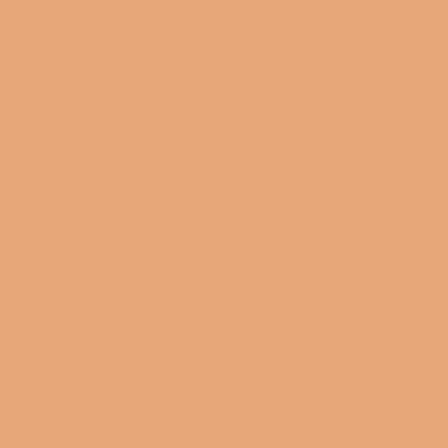five others at 3-1 including former S into the top division with a winning Taniazuma, Wm33 Fatakiyama and
by Nushuzan, 2007/7/11
Nagoya Basho 2007 - Day 1
Welcome to the Nagoya Basho 200
With summer upon us, we have the kyujo for holiday travel and relaxatio sit on and soak in some sun, I woul time in several years we have a two association has desperately needed opponent to pick up his first career new era of sumo at 0-1 after losing Yokozuna last tournament as well. T dramatic, but we still have two weel start buying up those tickets!
For Sumo Game, we are once agai Ekigozan having a mathematical sh record for the tournament. Day one side with scoring at 5.54 thanks in p Baruto, up from Juryo after a knee i
Good luck to all and enjoy!
by Nushuzan, 2007/7/8
Copyright © 1996-2